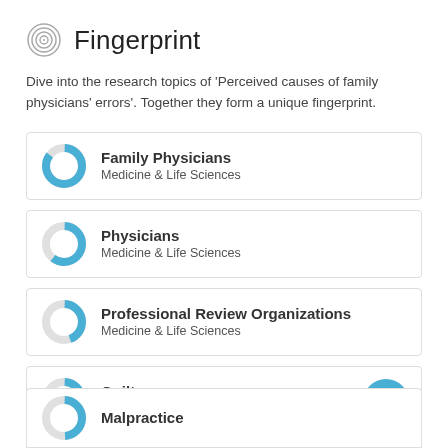Fingerprint
Dive into the research topics of 'Perceived causes of family physicians' errors'. Together they form a unique fingerprint.
Family Physicians
Medicine & Life Sciences
Physicians
Medicine & Life Sciences
Professional Review Organizations
Medicine & Life Sciences
Guilt
Medicine & Life Sciences
Malpractice